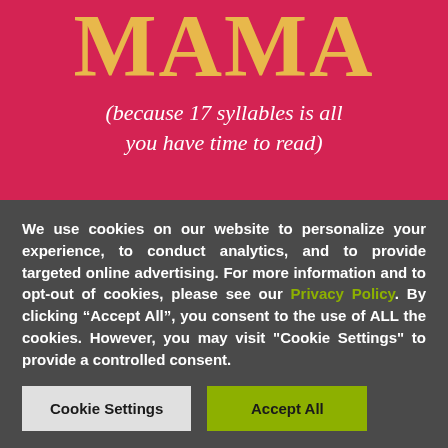MAMA
(because 17 syllables is all you have time to read)
We use cookies on our website to personalize your experience, to conduct analytics, and to provide targeted online advertising. For more information and to opt-out of cookies, please see our Privacy Policy. By clicking “Accept All”, you consent to the use of ALL the cookies. However, you may visit "Cookie Settings" to provide a controlled consent.
Cookie Settings
Accept All